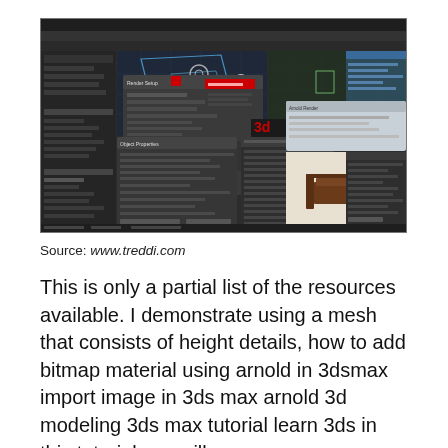[Figure (screenshot): Screenshot of 3ds Max / Arnold 3D modeling software interface showing multiple panels, dialogs, material editor, viewport with a chair model, and various toolbars. Dark UI theme.]
Source: www.treddi.com
This is only a partial list of the resources available. I demonstrate using a mesh that consists of height details, how to add bitmap material using arnold in 3dsmax import image in 3ds max arnold 3d modeling 3ds max tutorial learn 3ds in this tutorial, we will